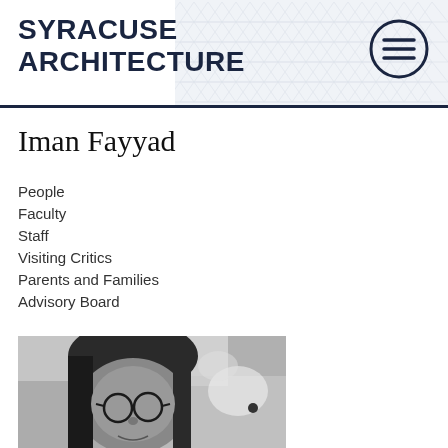SYRACUSE ARCHITECTURE
Iman Fayyad
People
Faculty
Staff
Visiting Critics
Parents and Families
Advisory Board
[Figure (photo): Black and white portrait photo of Iman Fayyad, a woman with long dark hair and round glasses, photographed against a textured stone wall background.]